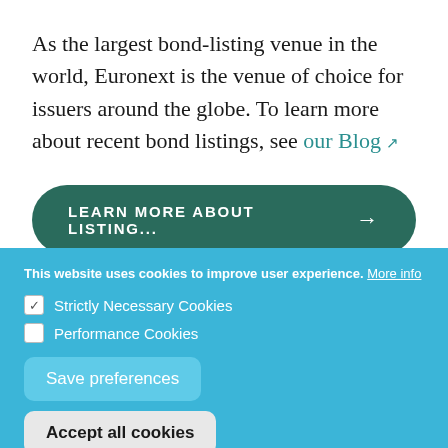As the largest bond-listing venue in the world, Euronext is the venue of choice for issuers around the globe. To learn more about recent bond listings, see our Blog.
LEARN MORE ABOUT LISTING... →
This website uses cookies to improve user experience. More info
✓ Strictly Necessary Cookies
☐ Performance Cookies
Save preferences
Accept all cookies